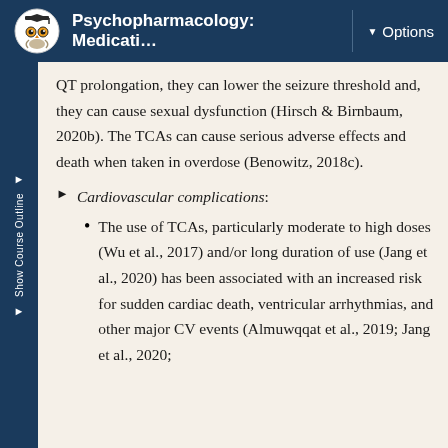Psychopharmacology: Medicati…  ▼ Options
QT prolongation, they can lower the seizure threshold and, they can cause sexual dysfunction (Hirsch & Birnbaum, 2020b). The TCAs can cause serious adverse effects and death when taken in overdose (Benowitz, 2018c).
Cardiovascular complications:
The use of TCAs, particularly moderate to high doses (Wu et al., 2017) and/or long duration of use (Jang et al., 2020) has been associated with an increased risk for sudden cardiac death, ventricular arrhythmias, and other major CV events (Almuwqqat et al., 2019; Jang et al., 2020;